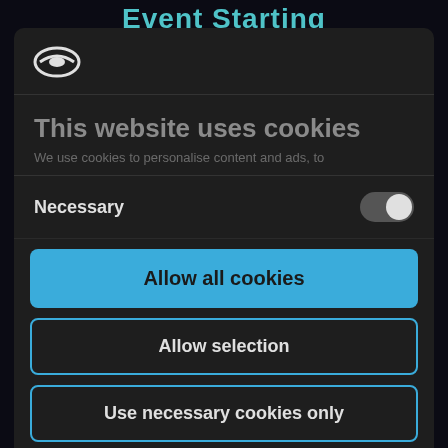Event Starting
[Figure (logo): Cookiebot shield/cookie logo in white]
This website uses cookies
We use cookies to personalise content and ads, to
Necessary
Allow all cookies
Allow selection
Use necessary cookies only
Powered by Cookiebot by Usercentrics
Studia